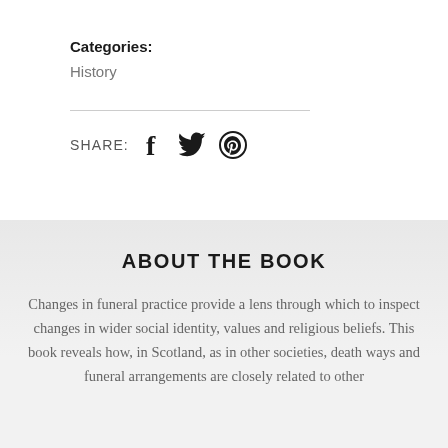Categories: History
SHARE: [facebook] [twitter] [pinterest]
ABOUT THE BOOK
Changes in funeral practice provide a lens through which to inspect changes in wider social identity, values and religious beliefs. This book reveals how, in Scotland, as in other societies, death ways and funeral arrangements are closely related to other